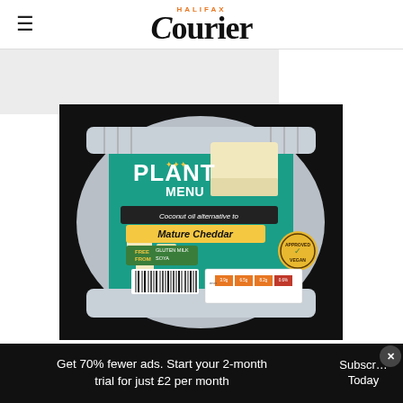HALIFAX Courier
[Figure (photo): Plant Menu coconut oil alternative to Mature Cheddar product packaging on black background, showing cheese block and cubes, free from gluten milk soya, nutrition information table]
Get 70% fewer ads. Start your 2-month trial for just £2 per month
Subscribe Today